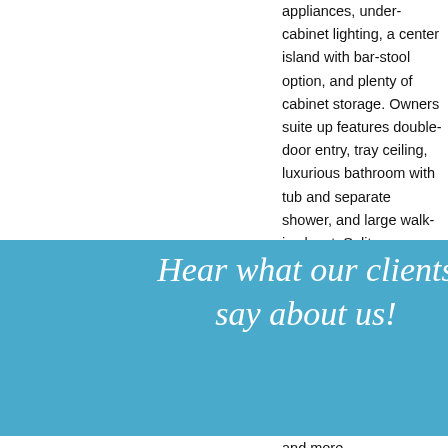appliances, under-cabinet lighting, a center island with bar-stool option, and plenty of cabinet storage. Owners suite up features double-door entry, tray ceiling, luxurious bathroom with tub and separate shower, and large walk-in closet. Split upper floor plan ...with bathroom ...level bedroom ...alk-out to patio, ...ly located near ...ping, dining, and more.
[Figure (illustration): Blue speech-bubble shaped banner with italic white text reading 'Hear what our clients say about us!']
currently priced at $475,000
more information
[Figure (photo): Photo of a brick townhouse at 2510 Princewood Street, Raleigh]
QUESTIONS?
2510 Princewood Street, Raleigh
The Townes at Crabtree subdivision
Gorgeous end-unit in The Townes at Crabtree. Fresh paint throughout. Beautiful hardwoods on main level w/ tile in kitchen. New carpet on lower/top levels. Kitchen provides gorgeous...